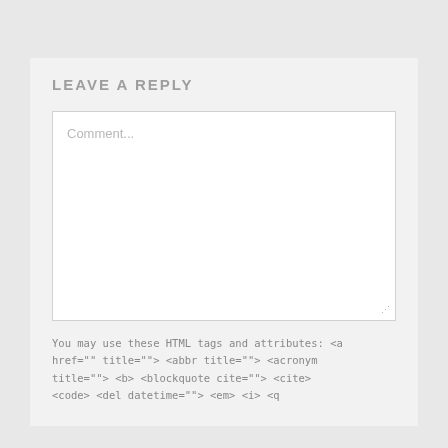LEAVE A REPLY
Comment...
You may use these HTML tags and attributes: <a href="" title=""> <abbr title=""> <acronym title=""> <b> <blockquote cite=""> <cite> <code> <del datetime=""> <em> <i> <q